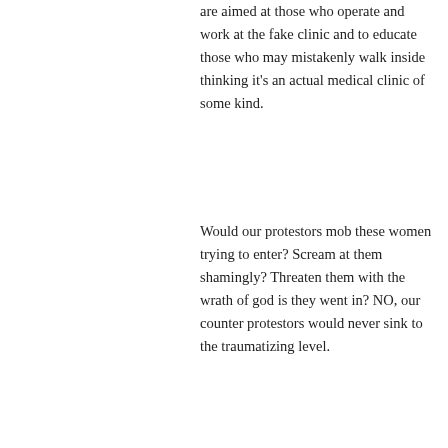are aimed at those who operate and work at the fake clinic and to educate those who may mistakenly walk inside thinking it's an actual medical clinic of some kind.
Would our protestors mob these women trying to enter? Scream at them shamingly? Threaten them with the wrath of god is they went in? NO, our counter protestors would never sink to the traumatizing level.
[Figure (photo): Broken image placeholder 1]
[Figure (photo): Broken image placeholder 2]
[Figure (photo): Photo of protesters outside a building. A woman holds a yellow sign reading 'SUITE 801 IS NOT A WOMEN'S'. Other people visible in background.]